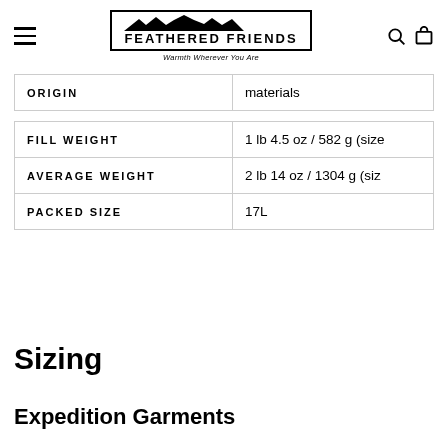Feathered Friends — Warmth Wherever You Are
| ORIGIN |  |
| --- | --- |
| ORIGIN | materials |
|  |  |
| --- | --- |
| FILL WEIGHT | 1 lb 4.5 oz / 582 g (size |
| AVERAGE WEIGHT | 2 lb 14 oz / 1304 g (siz |
| PACKED SIZE | 17L |
Sizing
Expedition Garments